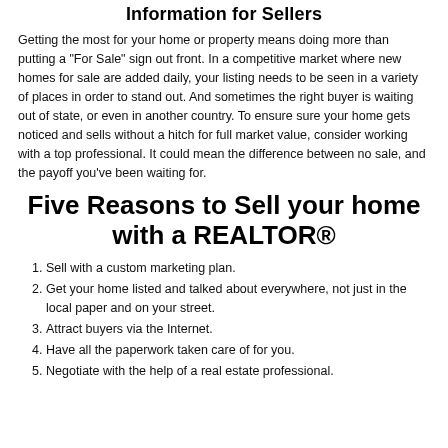Information for Sellers
Getting the most for your home or property means doing more than putting a "For Sale" sign out front. In a competitive market where new homes for sale are added daily, your listing needs to be seen in a variety of places in order to stand out. And sometimes the right buyer is waiting out of state, or even in another country. To ensure sure your home gets noticed and sells without a hitch for full market value, consider working with a top professional. It could mean the difference between no sale, and the payoff you've been waiting for.
Five Reasons to Sell your home with a REALTOR®
Sell with a custom marketing plan.
Get your home listed and talked about everywhere, not just in the local paper and on your street.
Attract buyers via the Internet.
Have all the paperwork taken care of for you.
Negotiate with the help of a real estate professional.